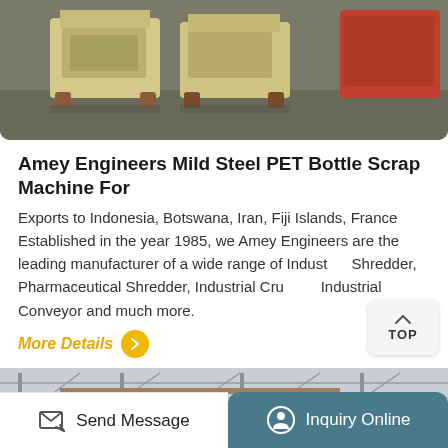[Figure (photo): Industrial machines (cream/yellow colored heavy equipment crushers/shredders) on a factory floor. Multiple units visible against a concrete floor background.]
Amey Engineers Mild Steel PET Bottle Scrap Machine For
Exports to Indonesia, Botswana, Iran, Fiji Islands, France Established in the year 1985, we Amey Engineers are the leading manufacturer of a wide range of Industrial Shredder, Pharmaceutical Shredder, Industrial Crusher, Industrial Conveyor and much more.
More Details
[Figure (photo): Interior of an industrial warehouse or factory with steel structure roof, overhead crane with chain hoist visible, bright lighting from windows.]
Send Message
Inquiry Online